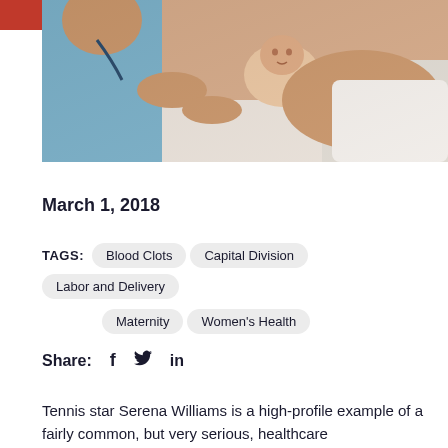[Figure (photo): A healthcare worker in blue scrubs holding a newborn baby against a mother lying in a hospital bed with white sheets.]
March 1, 2018
TAGS: Blood Clots   Capital Division   Labor and Delivery   Maternity   Women's Health
Share: f  in
Tennis star Serena Williams is a high-profile example of a fairly common, but very serious, healthcare